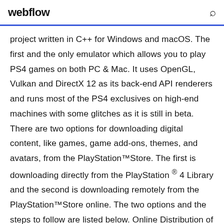webflow
project written in C++ for Windows and macOS. The first and the only emulator which allows you to play PS4 games on both PC & Mac. It uses OpenGL, Vulkan and DirectX 12 as its back-end API renderers and runs most of the PS4 exclusives on high-end machines with some glitches as it is still in beta. There are two options for downloading digital content, like games, game add-ons, themes, and avatars, from the PlayStation™Store. The first is downloading directly from the PlayStation ® 4 Library and the second is downloading remotely from the PlayStation™Store online. The two options and the steps to follow are listed below. Online Distribution of PS G...